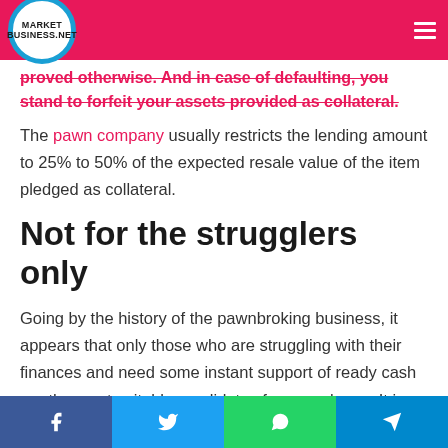MARKET BUSINESS.NET
proved otherwise. And in case of defaulting, you stand to forfeit your assets provided as collateral.
The pawn company usually restricts the lending amount to 25% to 50% of the expected resale value of the item pledged as collateral.
Not for the strugglers only
Going by the history of the pawnbroking business, it appears that only those who are struggling with their finances and need some instant support of ready cash are the most suitable candidates for pawn loans. It is only partly true because, with the changing times, the pawn companies have become modern in their business approach and implement new techniques of generating
Share buttons: Facebook, Twitter, WhatsApp, Telegram